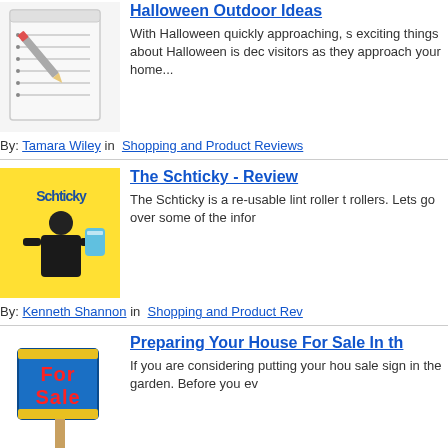[Figure (photo): Notepad with pencil icon]
Halloween Outdoor Ideas
With Halloween quickly approaching, s exciting things about Halloween is dec visitors as they approach your home...
By: Tamara Wiley in  Shopping and Product Reviews
[Figure (photo): Schticky lint roller product image with man]
The Schticky - Review
The Schticky is a re-usable lint roller t rollers. Lets go over some of the infor
By: Kenneth Shannon in  Shopping and Product Rev
[Figure (photo): For Sale sign in garden]
Preparing Your House For Sale In th
If you are considering putting your hou sale sign in the garden. Before you ev
By: whathouse in  Real Estate > Selling  Sep 17, 2
[Figure (photo): Muscular man fitness photo]
4 Sneaky Tricks To Get Shredded M
Today I want to chit chat with you abo at all. These 4 tips are sure to be a ga
By: Jeff Kappel in  Health and Fitness > Build Mus